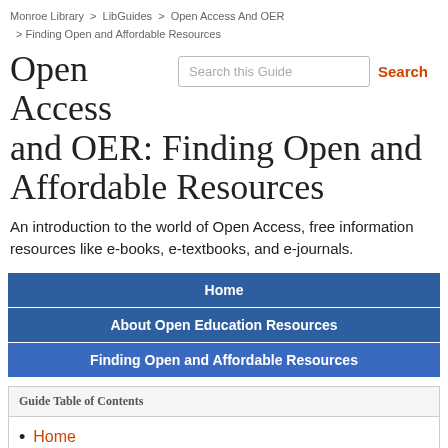Monroe Library > LibGuides > Open Access And OER > Finding Open and Affordable Resources
Open Access and OER: Finding Open and Affordable Resources
An introduction to the world of Open Access, free information resources like e-books, e-textbooks, and e-journals.
Home
About Open Education Resources
Finding Open and Affordable Resources
Guide Table of Contents
Home
About OER